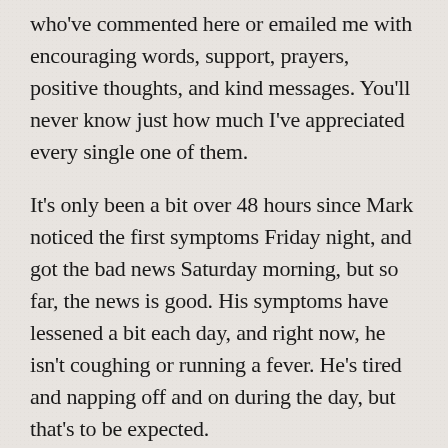who've commented here or emailed me with encouraging words, support, prayers, positive thoughts, and kind messages. You'll never know just how much I've appreciated every single one of them.
It's only been a bit over 48 hours since Mark noticed the first symptoms Friday night, and got the bad news Saturday morning, but so far, the news is good. His symptoms have lessened a bit each day, and right now, he isn't coughing or running a fever. He's tired and napping off and on during the day, but that's to be expected.
As for myself, I still feel fine. (Or as fine as I usually do, anyway, since I have a few health issues I'm always addressing.) In other words, I'm not feeling